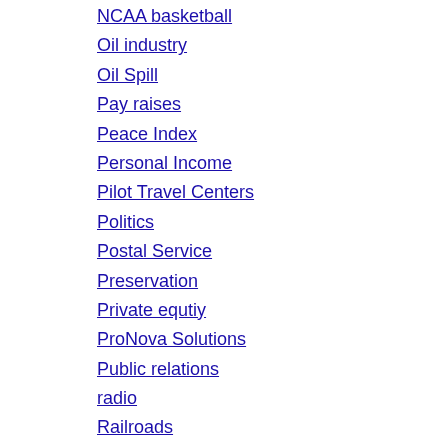NCAA basketball
Oil industry
Oil Spill
Pay raises
Peace Index
Personal Income
Pilot Travel Centers
Politics
Postal Service
Preservation
Private equtiy
ProNova Solutions
Public relations
radio
Railroads
Randy Boyd
real estate
Recession